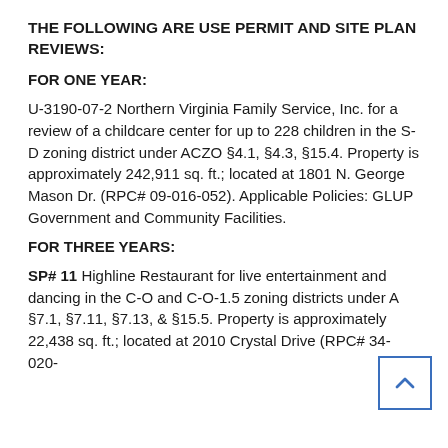THE FOLLOWING ARE USE PERMIT AND SITE PLAN REVIEWS:
FOR ONE YEAR:
U-3190-07-2 Northern Virginia Family Service, Inc. for a review of a childcare center for up to 228 children in the S-D zoning district under ACZO §4.1, §4.3, §15.4. Property is approximately 242,911 sq. ft.; located at 1801 N. George Mason Dr. (RPC# 09-016-052). Applicable Policies: GLUP Government and Community Facilities.
FOR THREE YEARS:
SP# 11 Highline Restaurant for live entertainment and dancing in the C-O and C-O-1.5 zoning districts under A §7.1, §7.11, §7.13, & §15.5. Property is approximately 22,438 sq. ft.; located at 2010 Crystal Drive (RPC# 34-020-